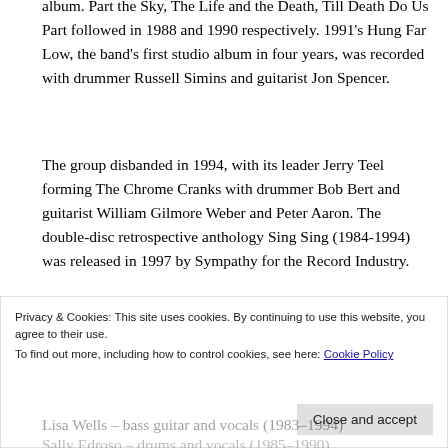album. Part the Sky, The Life and the Death, Till Death Do Us Part followed in 1988 and 1990 respectively. 1991's Hung Far Low, the band's first studio album in four years, was recorded with drummer Russell Simins and guitarist Jon Spencer.
The group disbanded in 1994, with its leader Jerry Teel forming The Chrome Cranks with drummer Bob Bert and guitarist William Gilmore Weber and Peter Aaron. The double-disc retrospective anthology Sing Sing (1984-1994) was released in 1997 by Sympathy for the Record Industry.
Band members:
Jerry Teel – electric guitar and vocals (1983–1994)
Lisa Wells – bass guitar and vocals (1983–1994)
Sally Edroso – drums and vocals (1985–1990)
Cristina Martinez – electric guitar and vocals (1987)
Privacy & Cookies: This site uses cookies. By continuing to use this website, you agree to their use. To find out more, including how to control cookies, see here: Cookie Policy